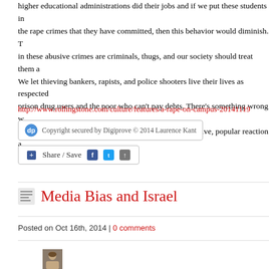higher educational administrations did their jobs and if we put these students in jail for the rape crimes that they have committed, then this behavior would diminish. Those involved in these abusive crimes are criminals, thugs, and our society should treat them as criminals. We let thieving bankers, rapists, and police shooters live their lives as respected citizens and prison drug users and the poor who can't pay debts. There's something wrong with us. If society does nothing to address this, there will be a massive, popular reaction against us. Nature abhors a vacuum.
http://www.rollingstone.com/culture/features/a-rape-on-campus-20141119
Copyright secured by Digiprove © 2014 Laurence Kant
Share / Save
Media Bias and Israel
Posted on Oct 16th, 2014 | 0 comments
[Figure (photo): Portrait photo of a person with short hair, cropped at the bottom of the page]